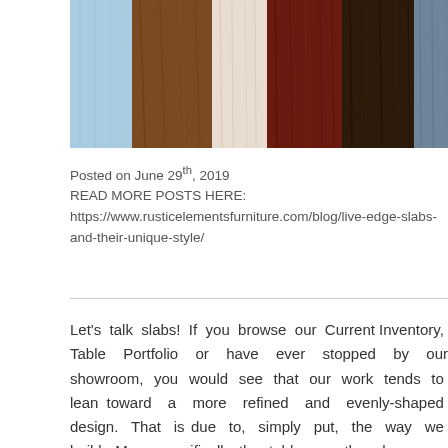[Figure (photo): A horizontal strip of wood planks/samples in various colors and finishes: light blue painted wood, medium brown hardwood, rich dark walnut, white/light natural pine, deep mahogany red-brown, another dark walnut, and a grayish-blue tone on the right edge.]
Posted on June 29th, 2019
READ MORE POSTS HERE:
https://www.rusticelementsfurniture.com/blog/live-edge-slabs-and-their-unique-style/
Let's talk slabs! If you browse our Current Inventory, Table Portfolio or have ever stopped by our showroom, you would see that our work tends to lean toward a more refined and evenly-shaped design. That is due to, simply put, the way we build. More specifically, the tables on the showroom floor were crafted in the traditional way of gluing the hardwood boards together.